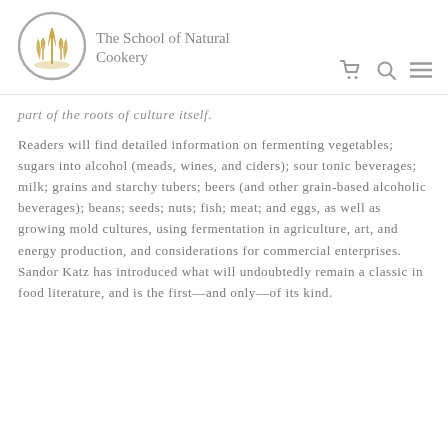[Figure (logo): The School of Natural Cookery logo: circular gray border with golden wheat/grain plant illustration inside, next to text 'The School of Natural Cookery']
part of the roots of culture itself.
Readers will find detailed information on fermenting vegetables; sugars into alcohol (meads, wines, and ciders); sour tonic beverages; milk; grains and starchy tubers; beers (and other grain-based alcoholic beverages); beans; seeds; nuts; fish; meat; and eggs, as well as growing mold cultures, using fermentation in agriculture, art, and energy production, and considerations for commercial enterprises. Sandor Katz has introduced what will undoubtedly remain a classic in food literature, and is the first—and only—of its kind.